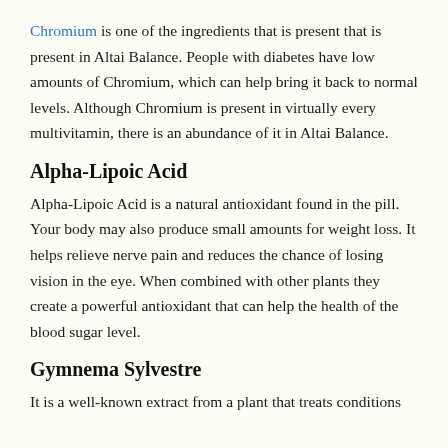Chromium is one of the ingredients that is present that is present in Altai Balance. People with diabetes have low amounts of Chromium, which can help bring it back to normal levels. Although Chromium is present in virtually every multivitamin, there is an abundance of it in Altai Balance.
Alpha-Lipoic Acid
Alpha-Lipoic Acid is a natural antioxidant found in the pill. Your body may also produce small amounts for weight loss. It helps relieve nerve pain and reduces the chance of losing vision in the eye. When combined with other plants they create a powerful antioxidant that can help the health of the blood sugar level.
Gymnema Sylvestre
It is a well-known extract from a plant that treats conditions